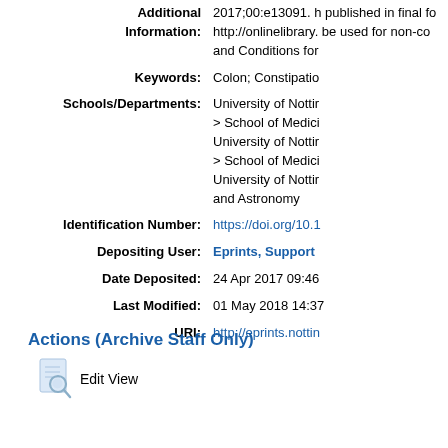| Additional Information: | 2017;00:e13091. h published in final fo http://onlinelibrary. be used for non-co and Conditions for |
| Keywords: | Colon; Constipatio |
| Schools/Departments: | University of Nottir > School of Medici University of Nottir > School of Medici University of Nottir and Astronomy |
| Identification Number: | https://doi.org/10.1 |
| Depositing User: | Eprints, Support |
| Date Deposited: | 24 Apr 2017 09:46 |
| Last Modified: | 01 May 2018 14:37 |
| URI: | http://eprints.nottin |
Actions (Archive Staff Only)
Edit View